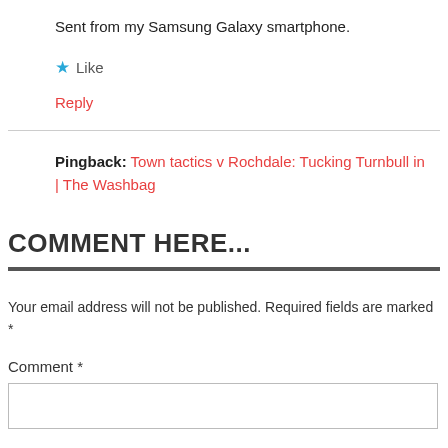Sent from my Samsung Galaxy smartphone.
★ Like
Reply
Pingback: Town tactics v Rochdale: Tucking Turnbull in | The Washbag
COMMENT HERE...
Your email address will not be published. Required fields are marked *
Comment *